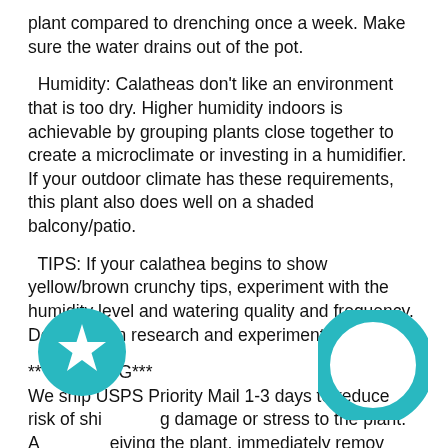plant compared to drenching once a week. Make sure the water drains out of the pot.
Humidity: Calatheas don't like an environment that is too dry. Higher humidity indoors is achievable by grouping plants close together to create a microclimate or investing in a humidifier.
If your outdoor climate has these requirements, this plant also does well on a shaded balcony/patio.
TIPS: If your calathea begins to show yellow/brown crunchy tips, experiment with the humidity level and watering quality and frequency. Do your own research and experiments.
***SHIPPING***
We ship USPS Priority Mail 1-3 days to reduce risk of shipping damage or stress to the plant.
After receiving the plant, immediately remove packaging and follow the guidelines attached to your packing slip.